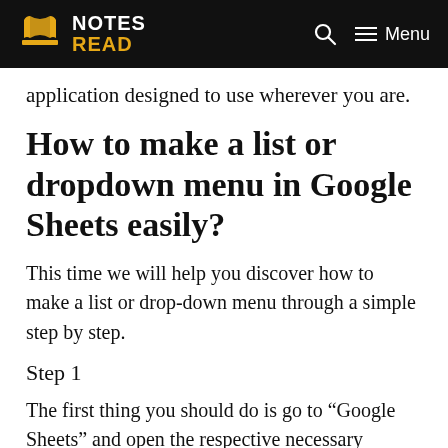NOTES READ
application designed to use wherever you are.
How to make a list or dropdown menu in Google Sheets easily?
This time we will help you discover how to make a list or drop-down menu through a simple step by step.
Step 1
The first thing you should do is go to “Google Sheets” and open the respective necessary spreadsheet.